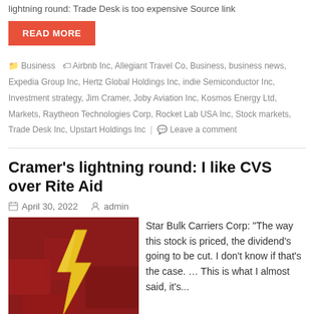lightning round: Trade Desk is too expensive Source link
READ MORE
Business  Airbnb Inc, Allegiant Travel Co, Business, business news, Expedia Group Inc, Hertz Global Holdings Inc, indie Semiconductor Inc, Investment strategy, Jim Cramer, Joby Aviation Inc, Kosmos Energy Ltd, Markets, Raytheon Technologies Corp, Rocket Lab USA Inc, Stock markets, Trade Desk Inc, Upstart Holdings Inc  Leave a comment
Cramer's lightning round: I like CVS over Rite Aid
April 30, 2022   admin
[Figure (photo): Red background with yellow lightning bolt graphic, associated with Cramer's lightning round segment]
Star Bulk Carriers Corp: "The way this stock is priced, the dividend's going to be cut. I don't know if that's the case. … This is what I almost said, it's...